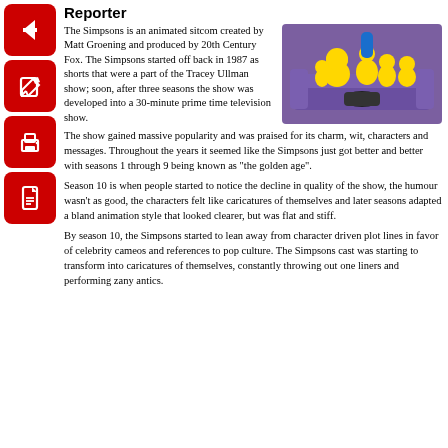Reporter
[Figure (illustration): The Simpsons family sitting on a couch, animated illustration showing Homer, Marge, Bart, Lisa, and Maggie]
The Simpsons is an animated sitcom created by Matt Groening and produced by 20th Century Fox. The Simpsons started off back in 1987 as shorts that were a part of the Tracey Ullman show; soon, after three seasons the show was developed into a 30-minute prime time television show.
The show gained massive popularity and was praised for its charm, wit, characters and messages. Throughout the years it seemed like the Simpsons just got better and better with seasons 1 through 9 being known as “the golden age”.
Season 10 is when people started to notice the decline in quality of the show, the humour wasn’t as good, the characters felt like caricatures of themselves and later seasons adapted a bland animation style that looked clearer, but was flat and stiff.
By season 10, the Simpsons started to lean away from character driven plot lines in favor of celebrity cameos and references to pop culture. The Simpsons cast was starting to transform into caricatures of themselves, constantly throwing out one liners and performing zany antics.